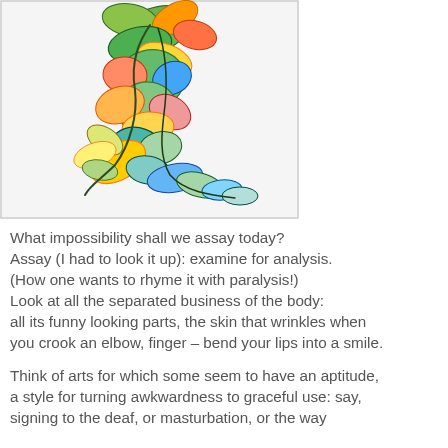[Figure (illustration): A colorful abstract illustration of a human figure in motion, rendered with mosaic-like leaf and petal shapes in greens, oranges, blues, yellows, and pinks against a white background. The figure appears to be crouching or running, formed entirely from overlapping organic shapes.]
What impossibility shall we assay today?
Assay (I had to look it up): examine for analysis.
(How one wants to rhyme it with paralysis!)
Look at all the separated business of the body:
all its funny looking parts, the skin that wrinkles when
you crook an elbow, finger – bend your lips into a smile.

Think of arts for which some seem to have an aptitude,
a style for turning awkwardness to graceful use: say,
signing to the deaf, or masturbation, or the way